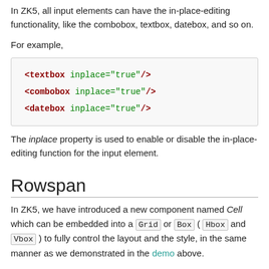In ZK5, all input elements can have the in-place-editing functionality, like the combobox, textbox, datebox, and so on.
For example,
[Figure (screenshot): Code block showing XML snippet: <textbox inplace="true"/>, <combobox inplace="true"/>, <datebox inplace="true"/>]
The inplace property is used to enable or disable the in-place-editing function for the input element.
Rowspan
In ZK5, we have introduced a new component named Cell which can be embedded into a Grid or Box ( Hbox and Vbox ) to fully control the layout and the style, in the same manner as we demonstrated in the demo above.